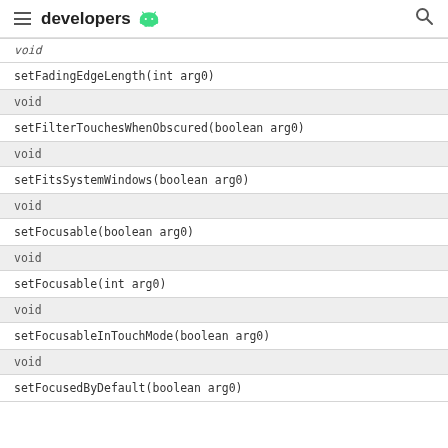developers
| void |  |
| setFadingEdgeLength(int arg0) |  |
| void |  |
| setFilterTouchesWhenObscured(boolean arg0) |  |
| void |  |
| setFitsSystemWindows(boolean arg0) |  |
| void |  |
| setFocusable(boolean arg0) |  |
| void |  |
| setFocusable(int arg0) |  |
| void |  |
| setFocusableInTouchMode(boolean arg0) |  |
| void |  |
| setFocusedByDefault(boolean arg0) |  |